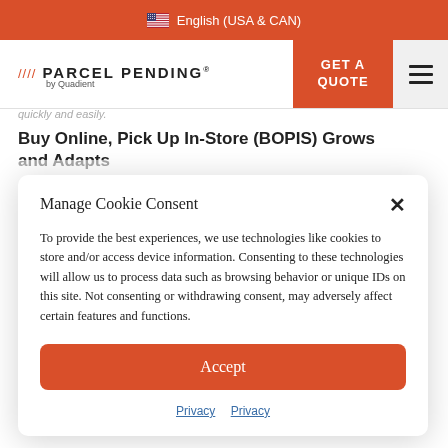English (USA & CAN)
[Figure (logo): Parcel Pending by Quadient logo with orange slashes]
quickly and easily.
Buy Online, Pick Up In-Store (BOPIS) Grows and Adapts
Manage Cookie Consent
To provide the best experiences, we use technologies like cookies to store and/or access device information. Consenting to these technologies will allow us to process data such as browsing behavior or unique IDs on this site. Not consenting or withdrawing consent, may adversely affect certain features and functions.
Accept
Privacy  Privacy